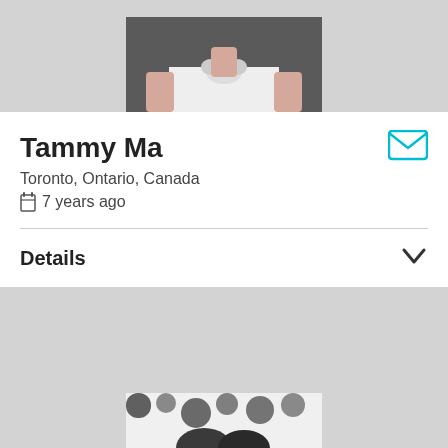[Figure (photo): Cropped photo of a person wearing white clothing, only lower body visible against gray background]
Tammy Ma
Toronto, Ontario, Canada
7 years ago
Details
[Figure (photo): Cropped photo of two people in a black and white patterned setting, only tops of heads visible]